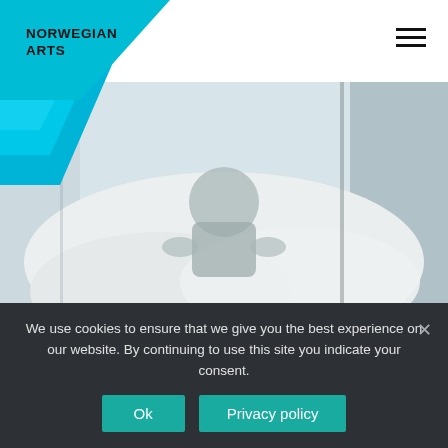NORWEGIAN ARTS
[Figure (photo): Person sitting on a bed covered with white sheets/fabric near a window, blurred artistic style]
August 11 to August 11, 2021
Mari Eriksmoen at the Edinburgh Festival
at Old College, South Edinburgh...
We use cookies to ensure that we give you the best experience on our website. By continuing to use this site you indicate your consent.
Ok | Privacy policy